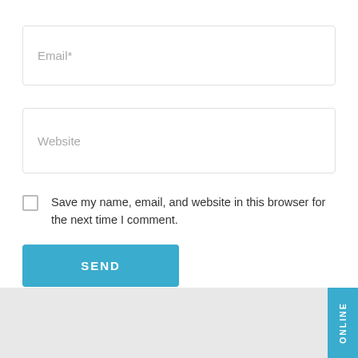[Figure (screenshot): Partial top input field cut off at the top of the page]
Email*
Website
Save my name, email, and website in this browser for the next time I comment.
SEND
ONLINE